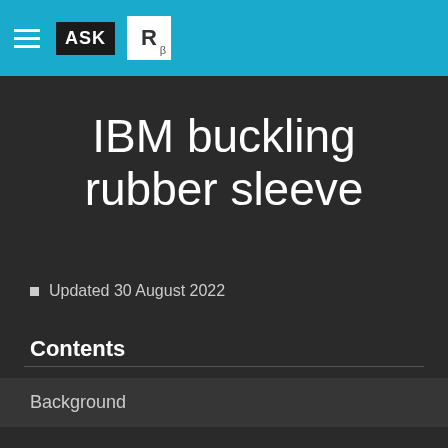ASK  Rβ
IBM buckling rubber sleeve
Updated 30 August 2022
Contents
Background